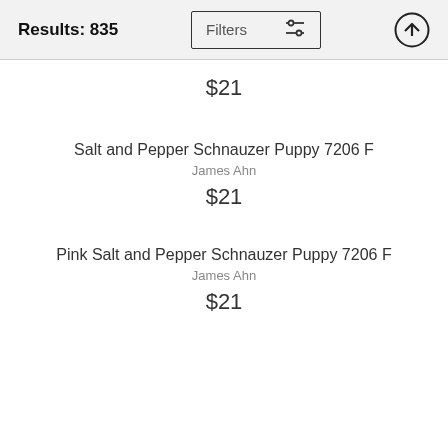Results: 835
$21
Salt and Pepper Schnauzer Puppy 7206 F
James Ahn
$21
Pink Salt and Pepper Schnauzer Puppy 7206 F
James Ahn
$21